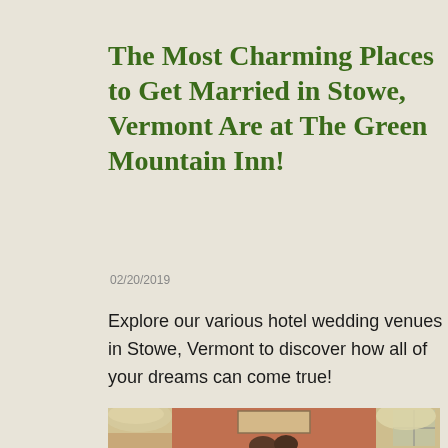The Most Charming Places to Get Married in Stowe, Vermont Are at The Green Mountain Inn!
02/20/2019
Explore our various hotel wedding venues in Stowe, Vermont to discover how all of your dreams can come true!
[Figure (photo): Interior photo of The Green Mountain Inn showing a couple at a table with lamps and red-walled room in background]